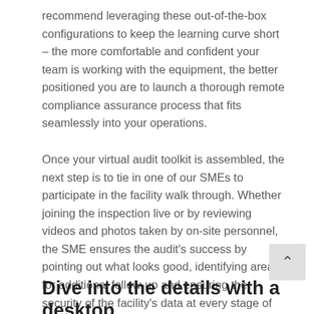recommend leveraging these out-of-the-box configurations to keep the learning curve short – the more comfortable and confident your team is working with the equipment, the better positioned you are to launch a thorough remote compliance assurance process that fits seamlessly into your operations.
Once your virtual audit toolkit is assembled, the next step is to tie in one of our SMEs to participate in the facility walk through. Whether joining the inspection live or by reviewing videos and photos taken by on-site personnel, the SME ensures the audit's success by pointing out what looks good, identifying areas for additional follow-up and ensuring the security of the facility's data at every stage of the process.
Dive into the details with a desktop